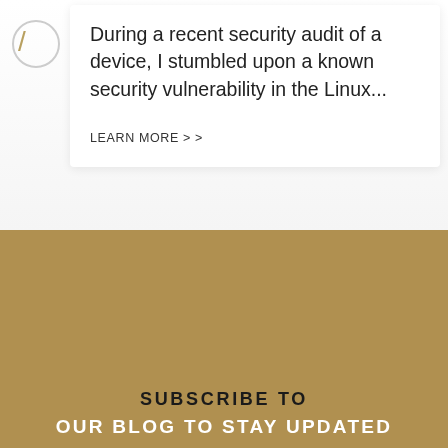During a recent security audit of a device, I stumbled upon a known security vulnerability in the Linux...
LEARN MORE > >
SUBSCRIBE TO OUR BLOG TO STAY UPDATED